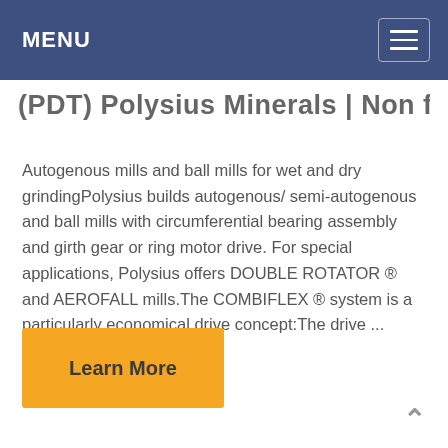MENU
(PDT) Polysius Minerals | Non fenat
Autogenous mills and ball mills for wet and dry grindingPolysius builds autogenous/ semi-autogenous and ball mills with circumferential bearing assembly and girth gear or ring motor drive. For special applications, Polysius offers DOUBLE ROTATOR ® and AEROFALL mills.The COMBIFLEX ® system is a particularly economical drive concept:The drive ...
Learn More